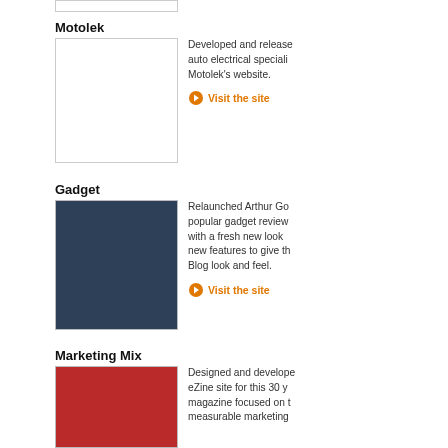[Figure (screenshot): Partial white thumbnail at very top (cropped)]
Motolek
[Figure (screenshot): White/blank thumbnail for Motolek]
Developed and released auto electrical specialise Motolek's website.
Visit the site
Gadget
[Figure (screenshot): Dark blue/navy screenshot thumbnail for Gadget]
Relaunched Arthur Go popular gadget review with a fresh new look new features to give th Blog look and feel.
Visit the site
Marketing Mix
[Figure (screenshot): Red screenshot thumbnail for Marketing Mix]
Designed and develope eZine site for this 30 y magazine focused on t measurable marketing Southern Africa. This e features subscriptions, Discussion forums, Sm and streaming videos.
Visit the site
Auction (partial, bottom cropped)